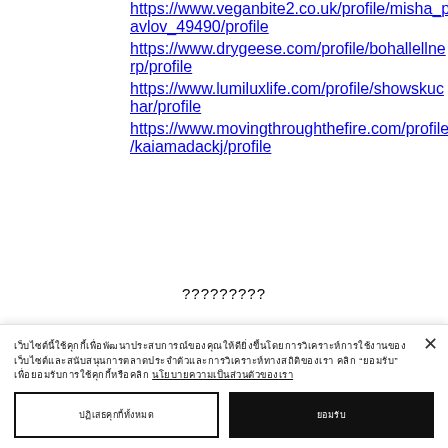https://www.veganbite2.co.uk/profile/misha_pavlov_49490/profile
https://www.drygeese.com/profile/bohallellnerp/profile
https://www.lumiluxlife.com/profile/showskuchar/profile
https://www.movingthroughthefire.com/profile/kaiamadackj/profile
?????????
[Figure (screenshot): Input field with underlined placeholder text dots]
Cookie consent overlay text in non-Latin script with underlined link and two buttons: reject and accept
Reject button label and Accept button label in non-Latin script